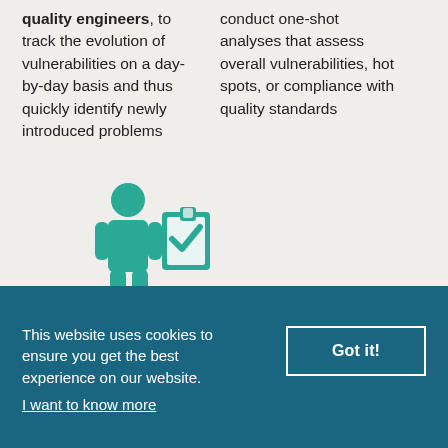quality engineers, to track the evolution of vulnerabilities on a day-by-day basis and thus quickly identify newly introduced problems
conduct one-shot analyses that assess overall vulnerabilities, hot spots, or compliance with quality standards
[Figure (illustration): Teal icon of a person holding a clipboard with a checkmark]
This website uses cookies to ensure you get the best experience on our website.
Got it!
I want to know more